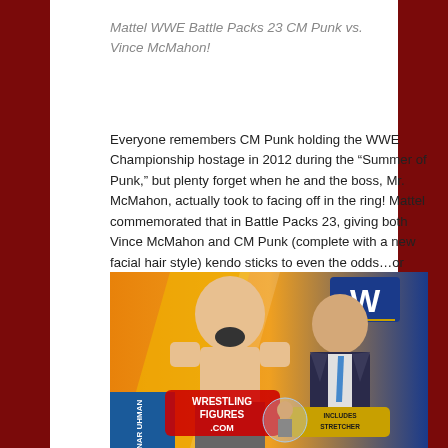Mattel WWE Battle Packs 23 CM Punk vs. Vince McMahon!
Everyone remembers CM Punk holding the WWE Championship hostage in 2012 during the “Summer of Punk,” but plenty forget when he and the boss, Mr. McMahon, actually took to facing off in the ring! Mattel commemorated that in Battle Packs 23, giving both Vince McMahon and CM Punk (complete with a new facial hair style) kendo sticks to even the odds…or maybe just to sword fight with!
[Figure (photo): Mattel WWE action figure packaging showing two wrestlers on the card art, with WrestlingFigures.com watermark overlay]